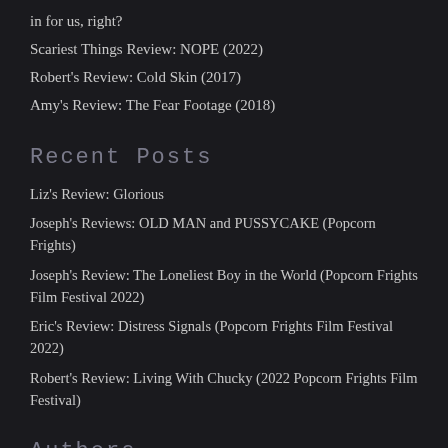in for us, right?
Scariest Things Review: NOPE (2022)
Robert's Review: Cold Skin (2017)
Amy's Review: The Fear Footage (2018)
Recent Posts
Liz's Review: Glorious
Joseph's Reviews: OLD MAN and PUSSYCAKE (Popcorn Frights)
Joseph's Review: The Loneliest Boy in the World (Popcorn Frights Film Festival 2022)
Eric's Review: Distress Signals (Popcorn Frights Film Festival 2022)
Robert's Review: Living With Chucky (2022 Popcorn Frights Film Festival)
Authors
eamwilliams